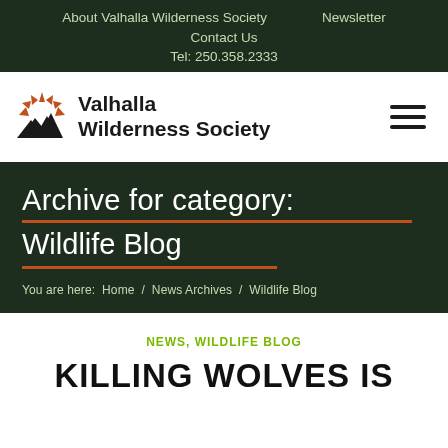About Valhalla Wilderness Society   Newsletter   Contact Us   Tel: 250.358.2333
[Figure (logo): Valhalla Wilderness Society logo with orange sunburst and mountain silhouette icon beside bold text reading 'Valhalla Wilderness Society']
Archive for category:
Wildlife Blog
You are here:  Home  /  News Archives  /  Wildlife Blog
NEWS, WILDLIFE BLOG
KILLING WOLVES IS